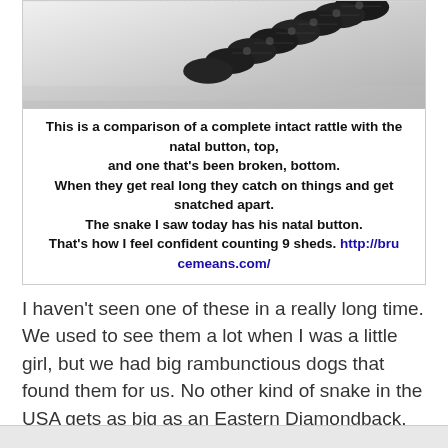[Figure (photo): Black and white close-up photograph of a rattlesnake rattle, showing the segmented rattle from a top-down angle against a light background.]
This is a comparison of a complete intact rattle with the natal button, top, and one that's been broken, bottom. When they get real long they catch on things and get snatched apart. The snake I saw today has his natal button. That's how I feel confident counting 9 sheds. http://brucemeans.com/
I haven't seen one of these in a really long time. We used to see them a lot when I was a little girl, but we had big rambunctious dogs that found them for us. No other kind of snake in the USA gets as big as an Eastern Diamondback, by weight I mean. This one is not big by rattlesnake standards. I was glad to see it. This one was particularly bright and pretty. I think he must have just shed his skin.